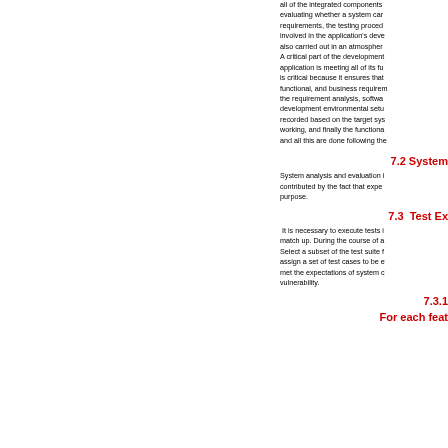all of the integrated components evaluating whether a system can requirements, the testing proced involved in the application's deve also carried out in an atmospher A critical part of the development application is meeting all of its fu is critical because it ensures that functional, and business requirem the requirement analysis, softwa development environmental setu recorded based on the target sys working, and finally the functiona and all this are done following th
7.2 System
System analysis and evaluation i contributed by the fact that expe purpose.
7.3  Test Ex
It is necessary to execute tests i match up. During the course of a Select a subset of the test suite f assign a set of test cases to be e met the expectations of system c vulnerability.
7.3.1
For each feat